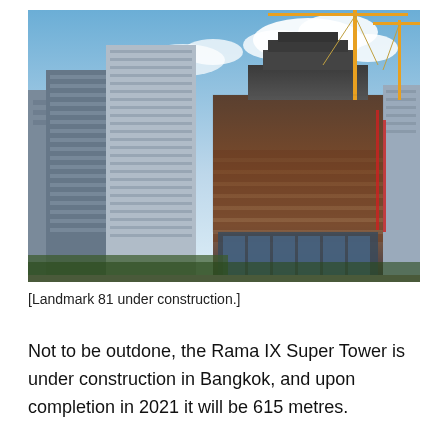[Figure (photo): Photograph of Landmark 81 skyscraper under construction in Bangkok, along with surrounding high-rise buildings. A construction crane is visible at the top. The building under construction has a brick/red facade with scaffolding. Blue sky with clouds in background.]
[Landmark 81 under construction.]
Not to be outdone, the Rama IX Super Tower is under construction in Bangkok, and upon completion in 2021 it will be 615 metres.